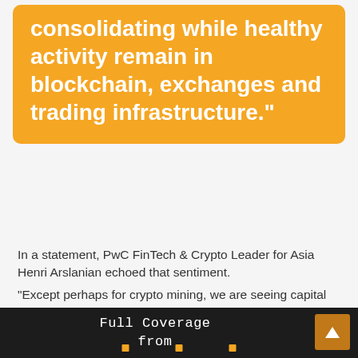consolidating while healthy activity remain in blockchain, exchanges and trading infrastructure."
In a statement, PwC FinTech & Crypto Leader for Asia Henri Arslanian echoed that sentiment.
"Except perhaps for crypto mining, we are seeing capital flow to every sector of the crypto industry," Arslanian said, "in particular, crypto exchanges as well as broader crypto trading and blockchain infrastructure companies."
Lucy Gazmararian image via CoinDesk/Jamie Yeo
[Figure (screenshot): Dark bottom bar with 'Full Coverage from' text in monospace font and an orange up-arrow button on the right, plus orange square dots along the bottom]